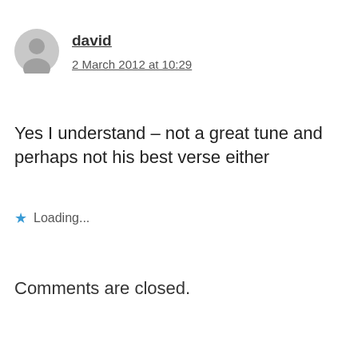[Figure (illustration): Circular grey user avatar/profile icon]
david
2 March 2012 at 10:29
Yes I understand – not a great tune and perhaps not his best verse either
Loading...
Comments are closed.